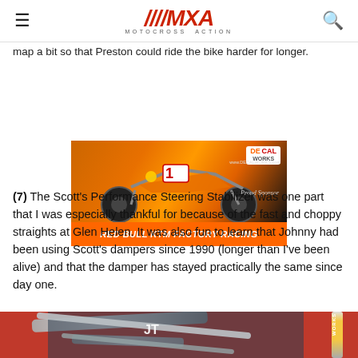MXA MOTOCROSS ACTION
map a bit so that Preston could ride the bike harder for longer.
[Figure (photo): Red Bull KTM Factory Racing advertisement showing an orange KTM dirt bike with number 1 plate, Decal Works branding, and orange banner text reading RED BULL KTM FACTORY RACING]
(7) The Scott's Performance Steering Stabilizer was one part that I was especially thankful for because of the fast and choppy straights at Glen Helen. It was also fun to learn that Johnny had been using Scott's dampers since 1990 (longer than I've been alive) and that the damper has stayed practically the same since day one.
[Figure (photo): Close-up photo of motorcycle frame and engine parts, showing red frame, silver/grey metal components, and a yellow shock absorber on the right side]